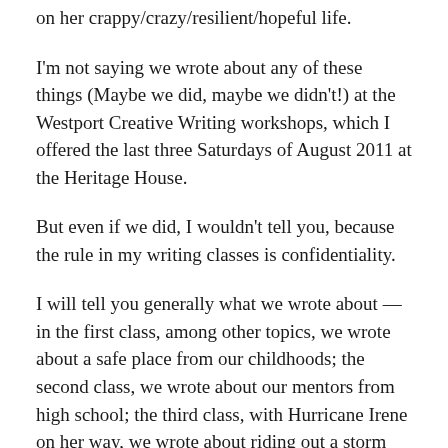on her crappy/crazy/resilient/hopeful life.
I'm not saying we wrote about any of these things (Maybe we did, maybe we didn't!) at the Westport Creative Writing workshops, which I offered the last three Saturdays of August 2011 at the Heritage House.
But even if we did, I wouldn't tell you, because the rule in my writing classes is confidentiality.
I will tell you generally what we wrote about — in the first class, among other topics, we wrote about a safe place from our childhoods; the second class, we wrote about our mentors from high school; the third class, with Hurricane Irene on her way, we wrote about riding out a storm (literal or metaphorical).
At the first class, we had 6 people, then 2, and then at